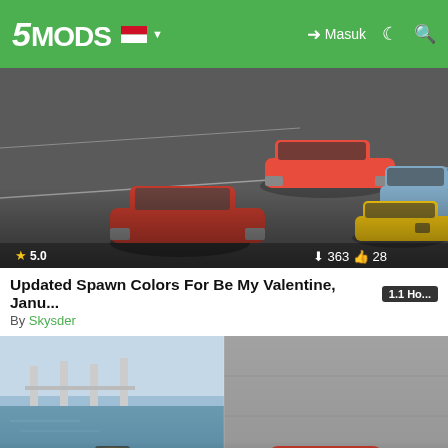5MODS — Masuk
[Figure (screenshot): GTA 5 mod thumbnail showing multiple cars: red muscle car, blue vintage car, yellow sports car on a parking lot. Rating 5.0, 363 downloads, 28 likes.]
Updated Spawn Colors For Be My Valentine, Janu... 1.1 Ho...
By Skysder
[Figure (screenshot): GTA 5 mod thumbnail showing a yellow speedboat near a marina, a red vintage car, a black car, a white car. Rating 5.0, 762 downloads, 42 likes.]